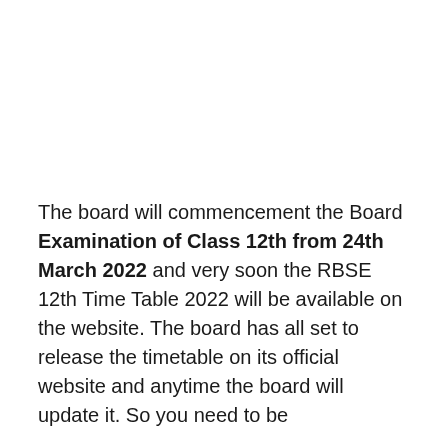The board will commencement the Board Examination of Class 12th from 24th March 2022 and very soon the RBSE 12th Time Table 2022 will be available on the website. The board has all set to release the timetable on its official website and anytime the board will update it. So you need to be